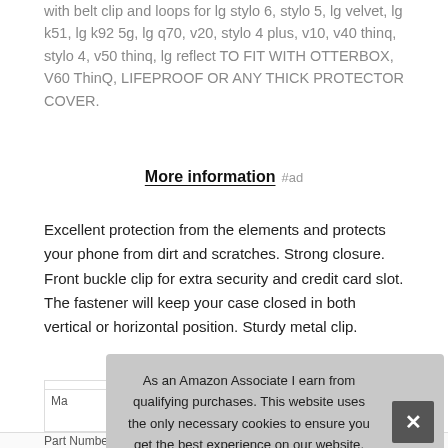with belt clip and loops for lg stylo 6, stylo 5, lg velvet, lg k51, lg k92 5g, lg q70, v20, stylo 4 plus, v10, v40 thinq, stylo 4, v50 thinq, lg reflect TO FIT WITH OTTERBOX, V60 ThinQ, LIFEPROOF OR ANY THICK PROTECTOR COVER.
More information #ad
Excellent protection from the elements and protects your phone from dirt and scratches. Strong closure. Front buckle clip for extra security and credit card slot. The fastener will keep your case closed in both vertical or horizontal position. Sturdy metal clip.
As an Amazon Associate I earn from qualifying purchases. This website uses the only necessary cookies to ensure you get the best experience on our website. More information